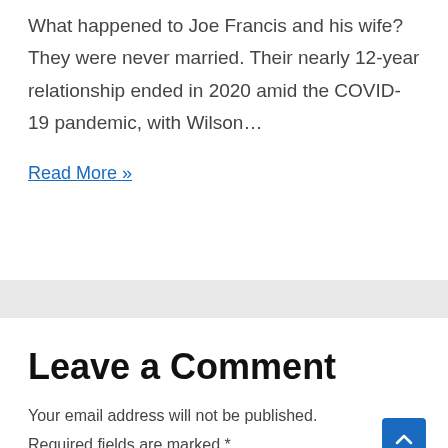What happened to Joe Francis and his wife? They were never married. Their nearly 12-year relationship ended in 2020 amid the COVID-19 pandemic, with Wilson…
Read More »
Leave a Comment
Your email address will not be published. Required fields are marked *